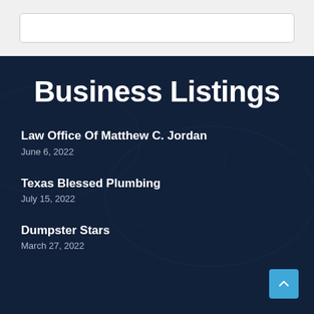[Figure (screenshot): Search bar / input box at top of page on gray background]
Business Listings
Law Office Of Matthew C. Jordan
June 6, 2022
Texas Blessed Plumbing
July 15, 2022
Dumpster Stars
March 27, 2022